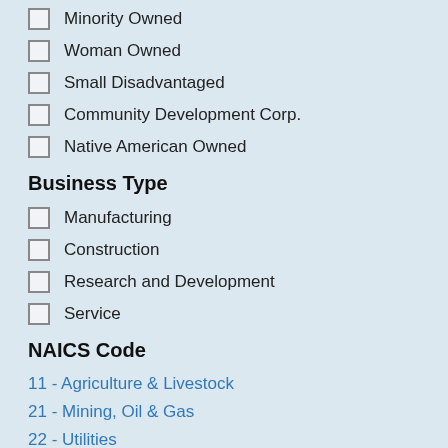Minority Owned
Woman Owned
Small Disadvantaged
Community Development Corp.
Native American Owned
Business Type
Manufacturing
Construction
Research and Development
Service
NAICS Code
11 - Agriculture & Livestock
21 - Mining, Oil & Gas
22 - Utilities
23 - Construction
31 - Food & Apparel
32 - Non Metallic Manufacturing